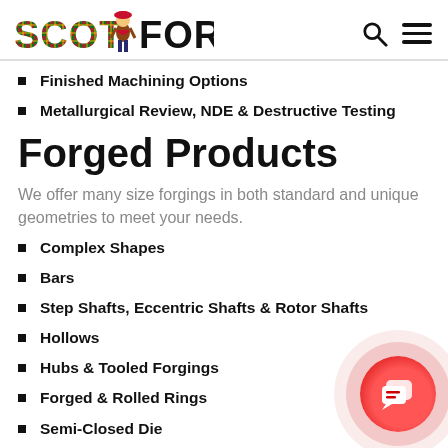SCOT FORGE
Finished Machining Options
Metallurgical Review, NDE & Destructive Testing
Forged Products
We offer many size forgings in both standard and unique geometries to meet your needs.
Complex Shapes
Bars
Step Shafts, Eccentric Shafts & Rotor Shafts
Hollows
Hubs & Tooled Forgings
Forged & Rolled Rings
Semi-Closed Die